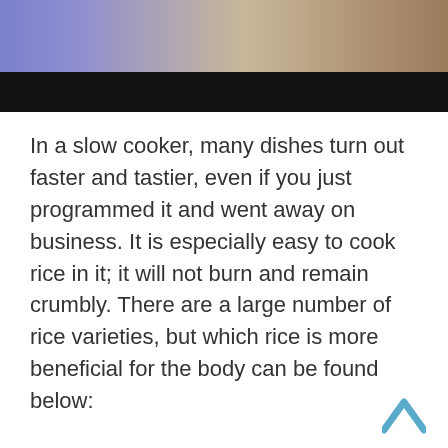[Figure (photo): Partial screenshot of a video or webpage header showing a person in a blue/purple outfit and a wooden background, with a black bar below (likely a video player or redacted text area).]
In a slow cooker, many dishes turn out faster and tastier, even if you just programmed it and went away on business. It is especially easy to cook rice in it; it will not burn and remain crumbly. There are a large number of rice varieties, but which rice is more beneficial for the body can be found below:
[Figure (illustration): Blue upward-pointing chevron/caret arrow icon in the bottom-right corner, used as a scroll-to-top button.]